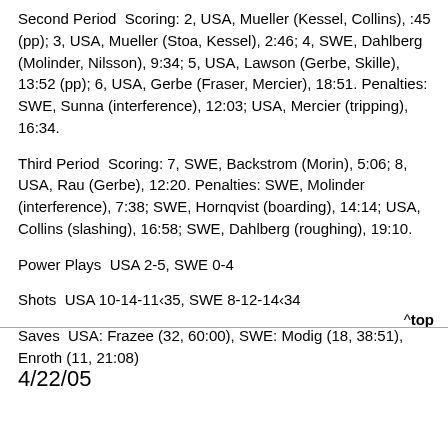Second Period  Scoring: 2, USA, Mueller (Kessel, Collins), :45 (pp); 3, USA, Mueller (Stoa, Kessel), 2:46; 4, SWE, Dahlberg (Molinder, Nilsson), 9:34; 5, USA, Lawson (Gerbe, Skille), 13:52 (pp); 6, USA, Gerbe (Fraser, Mercier), 18:51. Penalties: SWE, Sunna (interference), 12:03; USA, Mercier (tripping), 16:34.
Third Period  Scoring: 7, SWE, Backstrom (Morin), 5:06; 8, USA, Rau (Gerbe), 12:20. Penalties: SWE, Molinder (interference), 7:38; SWE, Hornqvist (boarding), 14:14; USA, Collins (slashing), 16:58; SWE, Dahlberg (roughing), 19:10.
Power Plays  USA 2-5, SWE 0-4
Shots  USA 10-14-11‹35, SWE 8-12-14‹34
Saves  USA: Frazee (32, 60:00), SWE: Modig (18, 38:51), Enroth (11, 21:08)
^top
4/22/05